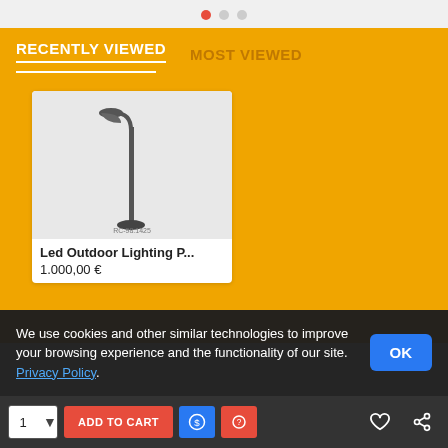[Figure (screenshot): Page indicator dots — one orange active dot and two gray inactive dots]
RECENTLY VIEWED
MOST VIEWED
[Figure (photo): LED outdoor lighting pole/post lamp product image on gray background with label RC-98.1425]
Led Outdoor Lighting P...
1.000,00 €
We use cookies and other similar technologies to improve your browsing experience and the functionality of our site. Privacy Policy.